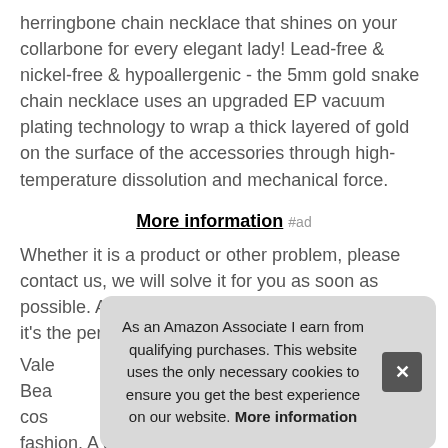herringbone chain necklace that shines on your collarbone for every elegant lady! Lead-free & nickel-free & hypoallergenic - the 5mm gold snake chain necklace uses an upgraded EP vacuum plating technology to wrap a thick layered of gold on the surface of the accessories through high-temperature dissolution and mechanical force.
More information #ad
Whether it is a product or other problem, please contact us, we will solve it for you as soon as possible. Add a gold chain or a delicate choker - it's the perfect statement starting point for all y
Vale... Bea... cos... fashion. A greay gift for her, unique and heartfelt gold flat
As an Amazon Associate I earn from qualifying purchases. This website uses the only necessary cookies to ensure you get the best experience on our website. More information